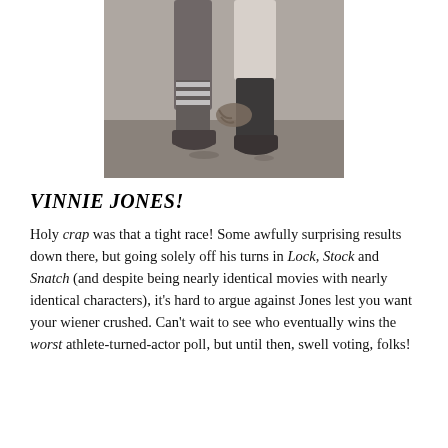[Figure (photo): Black and white photograph showing the lower legs and feet of two soccer/football players standing close together on a field, one gripping the other's groin area — a famous sports photograph of Vinnie Jones.]
VINNIE JONES!
Holy crap was that a tight race! Some awfully surprising results down there, but going solely off his turns in Lock, Stock and Snatch (and despite being nearly identical movies with nearly identical characters), it's hard to argue against Jones lest you want your wiener crushed. Can't wait to see who eventually wins the worst athlete-turned-actor poll, but until then, swell voting, folks!